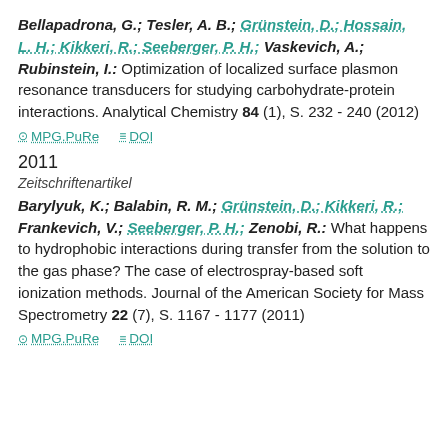Bellapadrona, G.; Tesler, A. B.; Grünstein, D.; Hossain, L. H.; Kikkeri, R.; Seeberger, P. H.; Vaskevich, A.; Rubinstein, I.: Optimization of localized surface plasmon resonance transducers for studying carbohydrate-protein interactions. Analytical Chemistry 84 (1), S. 232 - 240 (2012)
MPG.PuRe  DOI
2011
Zeitschriftenartikel
Barylyuk, K.; Balabin, R. M.; Grünstein, D.; Kikkeri, R.; Frankevich, V.; Seeberger, P. H.; Zenobi, R.: What happens to hydrophobic interactions during transfer from the solution to the gas phase? The case of electrospray-based soft ionization methods. Journal of the American Society for Mass Spectrometry 22 (7), S. 1167 - 1177 (2011)
MPG.PuRe  DOI